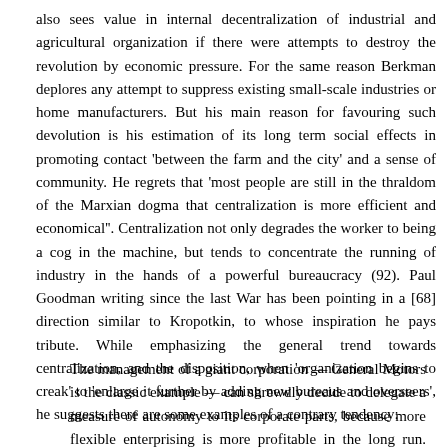also sees value in internal decentralization of industrial and agricultural organization if there were attempts to destroy the revolution by economic pressure. For the same reason Berkman deplores any attempt to suppress existing small-scale industries or home manufacturers. But his main reason for favouring such devolution is his estimation of its long term social effects in promoting contact 'between the farm and the city' and a sense of community. He regrets that 'most people are still in the thraldom of the Marxian dogma that centralization is more efficient and economical''. Centralization not only degrades the worker to being a cog in the machine, but tends to concentrate the running of industry in the hands of a powerful bureaucracy (92). Paul Goodman writing since the last War has been pointing in a [68] direction similar to Kropotkin, to whose inspiration he pays tribute. While emphasizing the general trend towards centralization, and the disposition, when 'organization begins to creak' to 'enlarge it further by adding new bureaus and overseers', he suggests there are some examples of a contrary tendency:
The management of a giant corporation — General Motors is the classic example — can shrewdly decide to delegate a measure of autonomy to its corporate parts, because more flexible enterprising is more profitable in the long run. Similarly